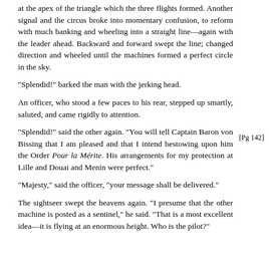at the apex of the triangle which the three flights formed. Another signal and the circus broke into momentary confusion, to reform with much banking and wheeling into a straight line—again with the leader ahead. Backward and forward swept the line; changed direction and wheeled until the machines formed a perfect circle in the sky.
"Splendid!" barked the man with the jerking head.
An officer, who stood a few paces to his rear, stepped up smartly, saluted, and came rigidly to attention.
"Splendid!" said the other again. "You will tell Captain Baron von Bissing that I am pleased and that I intend bestowing upon him the Order Pour la Mérite. His arrangements for my protection at Lille and Douai and Menin were perfect."
[Pg 142]
"Majesty," said the officer, "your message shall be delivered."
The sightseer swept the heavens again. "I presume that the other machine is posted as a sentinel," he said. "That is a most excellent idea—it is flying at an enormous height. Who is the pilot?"